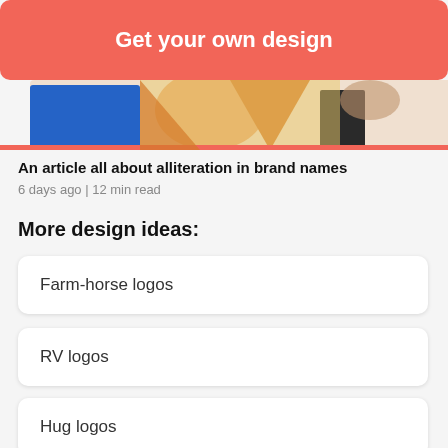Get your own design
[Figure (illustration): Partial illustration strip showing colorful graphic design elements with blue, orange, and dark shapes on a light background]
An article all about alliteration in brand names
6 days ago | 12 min read
More design ideas:
Farm-horse logos
RV logos
Hug logos